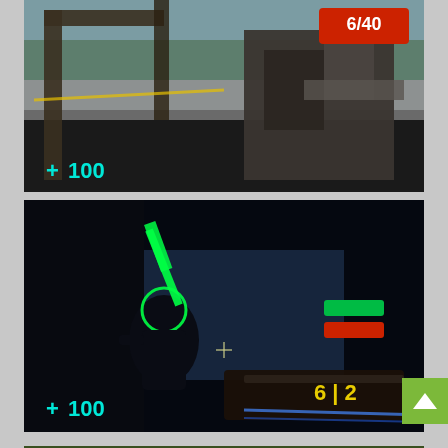[Figure (screenshot): First-person shooter video game screenshot. Outdoor snowy environment, player holding a large mechanical weapon. Top right corner shows red ammo counter reading 6/40. Bottom left shows cyan health cross icon and '100'.]
[Figure (screenshot): First-person shooter video game screenshot. Dark indoor environment, enemy figure visible with green glowing outline/weapon. Bottom right shows shotgun weapon with ammo counter '6 | 2'. Right side shows green and red indicator bars. Bottom left shows cyan health cross icon and '100'. Bottom right corner has a green scroll-up button with arrow.]
[Figure (screenshot): Partial screenshot of a third video game scene, showing an outdoor area, partially cut off at bottom of page.]